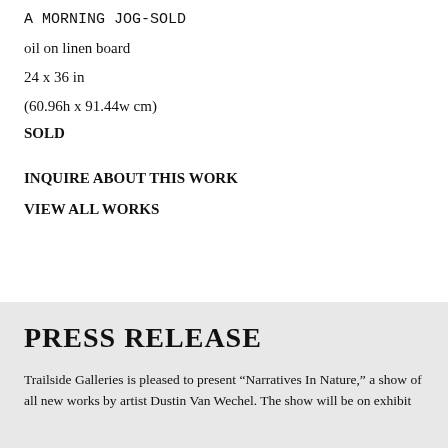A MORNING JOG-SOLD
oil on linen board
24 x 36 in
(60.96h x 91.44w cm)
SOLD
INQUIRE ABOUT THIS WORK
VIEW ALL WORKS
PRESS RELEASE
Trailside Galleries is pleased to present “Narratives In Nature,” a show of all new works by artist Dustin Van Wechel. The show will be on exhibit